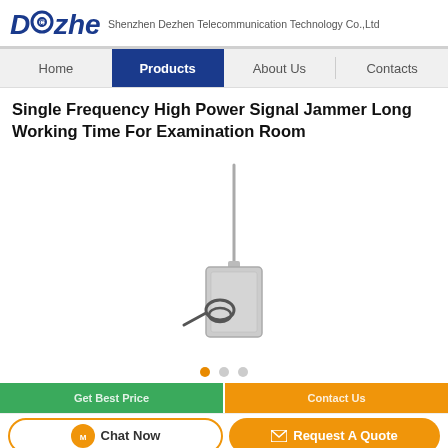Dezhen — Shenzhen Dezhen Telecommunication Technology Co.,Ltd
Single Frequency High Power Signal Jammer Long Working Time For Examination Room
[Figure (photo): A single frequency high power signal jammer device with a thin vertical antenna attached to a compact rectangular metallic housing with a coiled cable.]
Carousel pagination dots (3 dots, first active)
Bottom action buttons: Get Best Price | Contact Us
Chat Now | Request A Quote